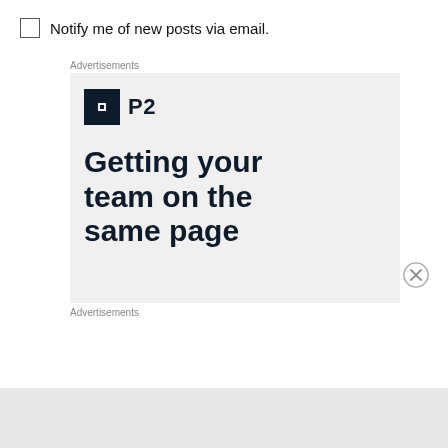Notify me of new posts via email.
Advertisements
[Figure (screenshot): Advertisement banner for P2 product showing the P2 logo and tagline 'Getting your team on the same page' on a light grey background]
Advertisements